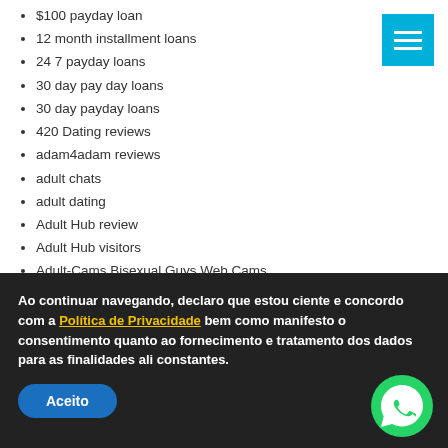$100 payday loan
12 month installment loans
24 7 payday loans
30 day pay day loans
30 day payday loans
420 Dating reviews
adam4adam reviews
adult chats
adult dating
Adult Hub review
Adult Hub visitors
Adult-Cams Bisexual Guys Web Cams
Adult-Cams Young Live Web Cam
adultfriendfinder reviews
adultspace reviews
advance payday loan
advance payday loans
adventist singles review
afrointroductions review
afrointroductions reviews
Ao continuar navegando, declaro que estou ciente e concordo com a Política de Privacidade bem como manifesto o consentimento quanto ao fornecimento e tratamento dos dados para as finalidades ali constantes.